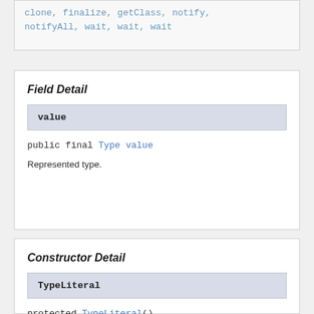clone, finalize, getClass, notify, notifyAll, wait, wait, wait
Field Detail
| value |
| --- |
public final Type value
Represented type.
Constructor Detail
| TypeLiteral |
| --- |
protected TypeLiteral()
The default constructor.